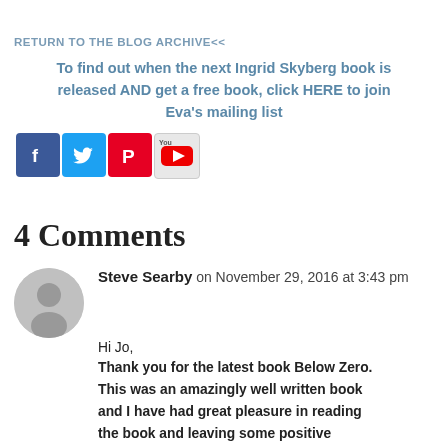RETURN TO THE BLOG ARCHIVE<<
To find out when the next Ingrid Skyberg book is released AND get a free book, click HERE to join Eva's mailing list
[Figure (other): Social media icons: Facebook, Twitter, Pinterest, YouTube]
4 Comments
Steve Searby on November 29, 2016 at 3:43 pm
Hi Jo,
Thank you for the latest book Below Zero. This was an amazingly well written book and I have had great pleasure in reading the book and leaving some positive